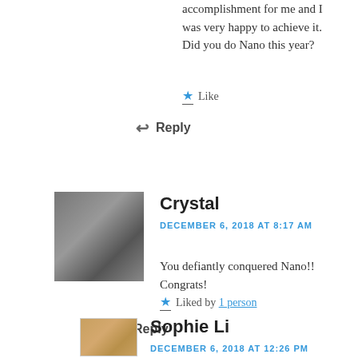accomplishment for me and I was very happy to achieve it. Did you do Nano this year?
Like
Reply
Crystal
DECEMBER 6, 2018 AT 8:17 AM
You defiantly conquered Nano!! Congrats!
Liked by 1 person
Reply
Sophie Li
DECEMBER 6, 2018 AT 12:26 PM